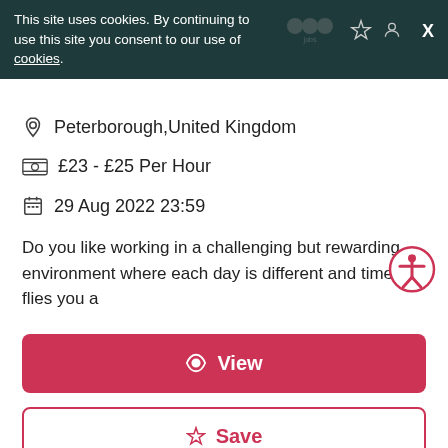This site uses cookies. By continuing to use this site you consent to our use of cookies.
Peterborough, United Kingdom
£23 - £25 Per Hour
29 Aug 2022 23:59
Do you like working in a challenging but rewarding environment where each day is different and time flies you a
View
Save
Share